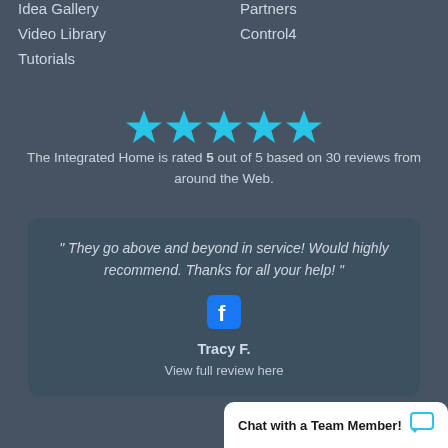Idea Gallery
Partners
Video Library
Control4
Tutorials
[Figure (infographic): Five cyan stars representing a 5-star rating]
The Integrated Home is rated 5 out of 5 based on 30 reviews from around the Web.
" They go above and beyond in service! Would highly recommend. Thanks for all your help! "
Tracy F.
View full review here
Chat with a Team Member!